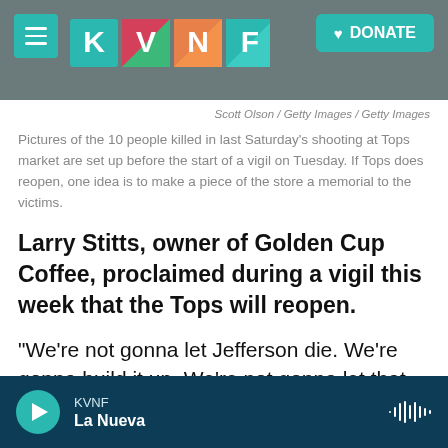[Figure (screenshot): KVNF radio station header with logo and DONATE button on dark rocky background]
Scott Olson / Getty Images / Getty Images
Pictures of the 10 people killed in last Saturday's shooting at Tops market are set up before the start of a vigil on Tuesday. If Tops does reopen, one idea is to make a piece of the store a memorial to the victims.
Larry Stitts, owner of Golden Cup Coffee, proclaimed during a vigil this week that the Tops will reopen.
"We're not gonna let Jefferson die. We're gonna build it up. We're not gonna let that Tops close. We're gonna open them doors!" he shouted to applause from the crowd in attendance.
KVNF La Nueva